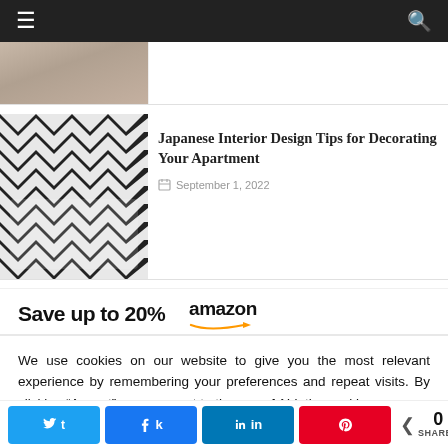Navigation bar with hamburger menu and search icon
[Figure (photo): Partially visible article thumbnail at top]
Japanese Interior Design Tips for Decorating Your Apartment
September 1, 2022
[Figure (infographic): Amazon advertisement banner — Save up to 20% with Amazon logo]
We use cookies on our website to give you the most relevant experience by remembering your preferences and repeat visits. By clicking “Accept”, you consent to the use of ALL the cookies.
Cookie settings
ACCEPT
Share buttons: Twitter, Facebook, LinkedIn, Pinterest. 0 SHARES